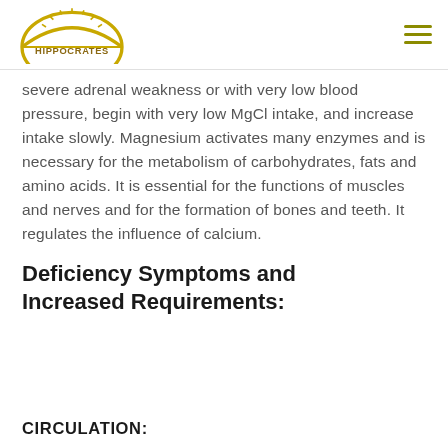Hippocrates logo and navigation
severe adrenal weakness or with very low blood pressure, begin with very low MgCl intake, and increase intake slowly. Magnesium activates many enzymes and is necessary for the metabolism of carbohydrates, fats and amino acids. It is essential for the functions of muscles and nerves and for the formation of bones and teeth. It regulates the influence of calcium.
Deficiency Symptoms and Increased Requirements:
CIRCULATION: